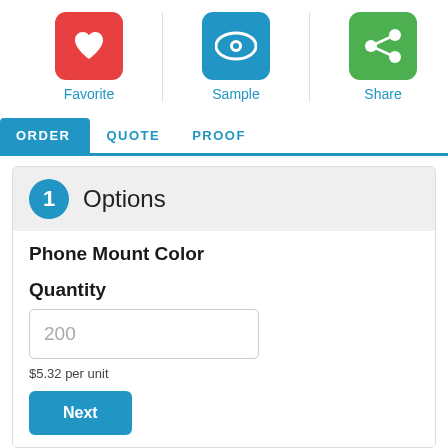[Figure (infographic): Three action icons in a row: Favorite (red heart icon), Sample (blue eye icon), Share (green share icon)]
ORDER   QUOTE   PROOF
1 Options
Phone Mount Color
Quantity
200
$5.32 per unit
Next